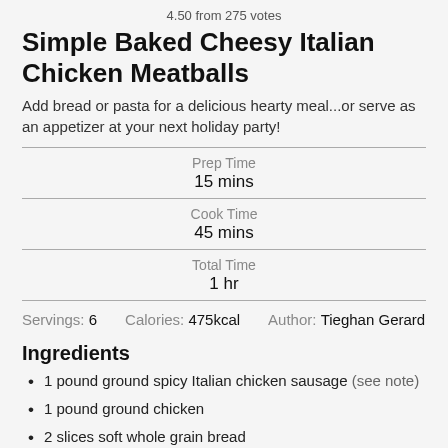4.50 from 275 votes
Simple Baked Cheesy Italian Chicken Meatballs
Add bread or pasta for a delicious hearty meal...or serve as an appetizer at your next holiday party!
Prep Time
15 mins
Cook Time
45 mins
Total Time
1 hr
Servings: 6   Calories: 475kcal   Author: Tieghan Gerard
Ingredients
1 pound ground spicy Italian chicken sausage (see note)
1 pound ground chicken
2 slices soft whole grain bread
2 eggs
1/2 …